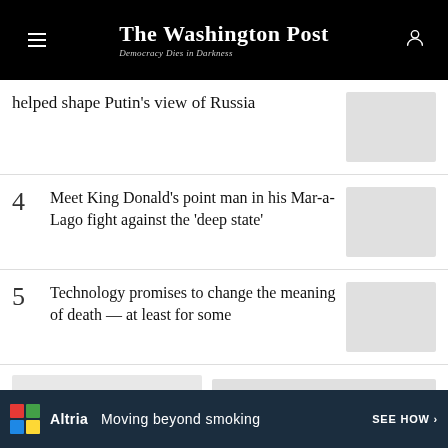The Washington Post — Democracy Dies in Darkness
helped shape Putin’s view of Russia
4 Meet King Donald’s point man in his Mar-a-Lago fight against the ‘deep state’
5 Technology promises to change the meaning of death — at least for some
[Figure (screenshot): Bottom section with article thumbnails and ad banner for Altria: Moving beyond smoking]
Altria Moving beyond smoking SEE HOW